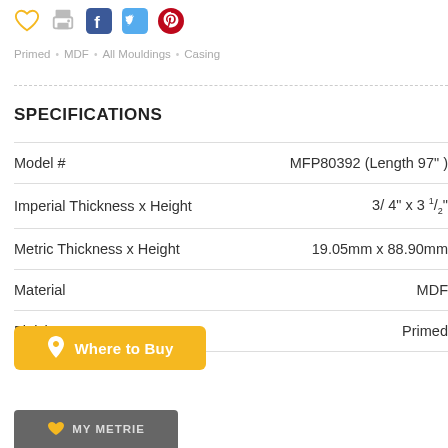Primed • MDF • All Mouldings • Casing
SPECIFICATIONS
|  |  |
| --- | --- |
| Model # | MFP80392 (Length 97") |
| Imperial Thickness x Height | 3/4" x 3 1/2" |
| Metric Thickness x Height | 19.05mm x 88.90mm |
| Material | MDF |
| Finish | Primed |
Where to Buy
MY METRIE